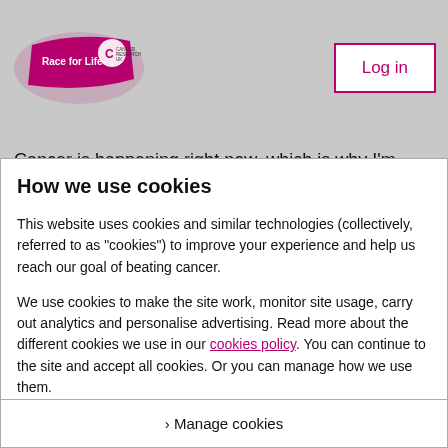Race for Life — Cancer Research UK | Log in
Cancer is happening right now, which is why I'm taking part in a Race for Life Pretty Muddy to raise money and
How we use cookies
This website uses cookies and similar technologies (collectively, referred to as "cookies") to improve your experience and help us reach our goal of beating cancer.
We use cookies to make the site work, monitor site usage, carry out analytics and personalise advertising. Read more about the different cookies we use in our cookies policy. You can continue to the site and accept all cookies. Or you can manage how we use them.
› Manage cookies